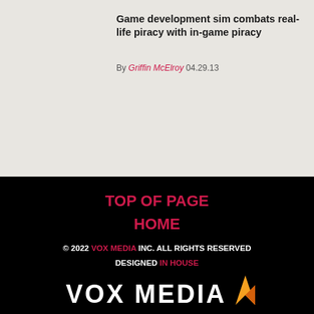Game development sim combats real-life piracy with in-game piracy
By Griffin McElroy 04.29.13
TOP OF PAGE
HOME
© 2022 VOX MEDIA INC. ALL RIGHTS RESERVED DESIGNED IN HOUSE
[Figure (logo): Vox Media logo with stylized 'M' icon in orange/yellow and white text reading VOX MEDIA]